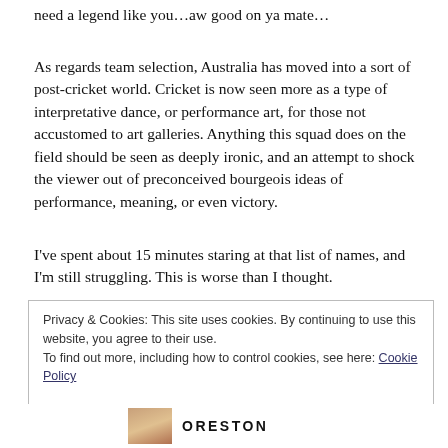need a legend like you…aw good on ya mate…
As regards team selection, Australia has moved into a sort of post-cricket world. Cricket is now seen more as a type of interpretative dance, or performance art, for those not accustomed to art galleries. Anything this squad does on the field should be seen as deeply ironic, and an attempt to shock the viewer out of preconceived bourgeois ideas of performance, meaning, or even victory.
I've spent about 15 minutes staring at that list of names, and I'm still struggling. This is worse than I thought.
Privacy & Cookies: This site uses cookies. By continuing to use this website, you agree to their use.
To find out more, including how to control cookies, see here: Cookie Policy
Close and accept
ORESTON